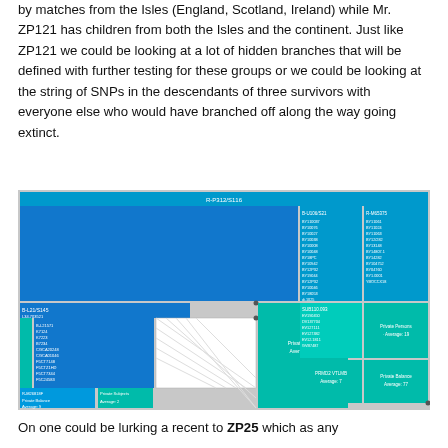by matches from the Isles (England, Scotland, Ireland) while Mr. ZP121 has children from both the Isles and the continent. Just like ZP121 we could be looking at a lot of hidden branches that will be defined with further testing for these groups or we could be looking at the string of SNPs in the descendants of three survivors with everyone else who would have branched off along the way going extinct.
[Figure (other): A hierarchical treemap-style diagram showing genetic phylogenetic groupings. The chart has a blue header bar labeled 'R-P312/S116'. Below are several large blue rectangles and teal/green rectangles representing haplogroup clusters with labels like B-L21/S145, B-U106/S21, Private Match Average 11, Private Match Average 77, etc. Various sample IDs are listed within the rectangles.]
On one could be lurking a recent to ZP25 which as any